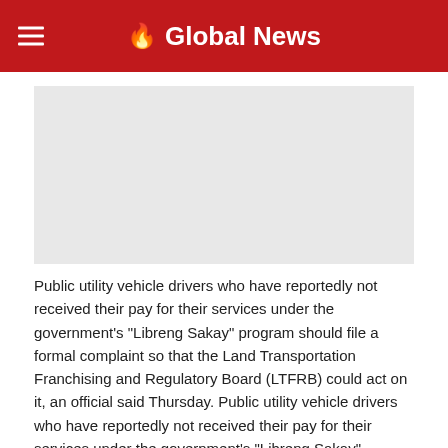Global News
[Figure (other): Advertisement placeholder area, light gray rectangle]
Public utility vehicle drivers who have reportedly not received their pay for their services under the government's "Libreng Sakay" program should file a formal complaint so that the Land Transportation Franchising and Regulatory Board (LTFRB) could act on it, an official said Thursday. Public utility vehicle drivers who have reportedly not received their pay for their services under the government's "Libreng Sakay" program should file a formal complaint so that the Land Transportation Franchising and Regulatory Board (LTFRB) could act on it, an official said Thursday.
PUV drivers in 'Libreng Sakay' pay dispute told to file formal complaint | Inquirer News